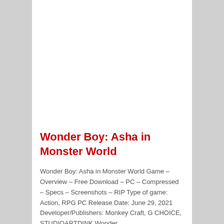Wonder Boy: Asha in Monster World
Wonder Boy: Asha in Monster World Game – Overview – Free Download – PC – Compressed – Specs – Screenshots – RIP Type of game: Action, RPG PC Release Date: June 29, 2021 Developer/Publishers: Monkey Craft, G CHOICE, STUDIOARTDINK Wonder…
July 7, 2021 · by Admin ·